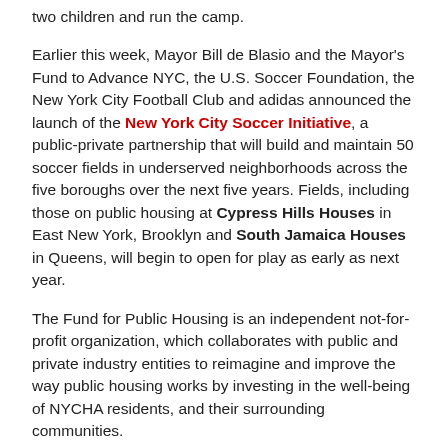two children and run the camp.
Earlier this week, Mayor Bill de Blasio and the Mayor's Fund to Advance NYC, the U.S. Soccer Foundation, the New York City Football Club and adidas announced the launch of the New York City Soccer Initiative, a public-private partnership that will build and maintain 50 soccer fields in underserved neighborhoods across the five boroughs over the next five years. Fields, including those on public housing at Cypress Hills Houses in East New York, Brooklyn and South Jamaica Houses in Queens, will begin to open for play as early as next year.
The Fund for Public Housing is an independent not-for-profit organization, which collaborates with public and private industry entities to reimagine and improve the way public housing works by investing in the well-being of NYCHA residents, and their surrounding communities.
###